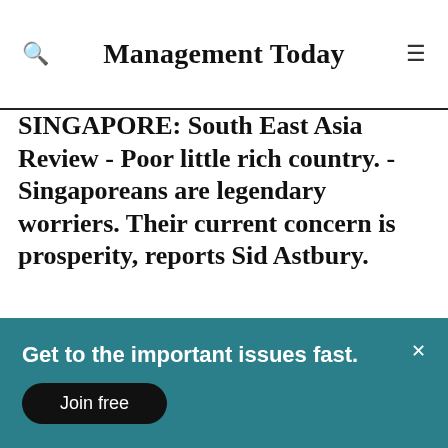Management Today
SINGAPORE: South East Asia Review - Poor little rich country. - Singaporeans are legendary worriers. Their current concern is prosperity, reports Sid Astbury.
Singaporeans are legendary worriers. Their current concern is prosperity, reports Sid Astbury.
Get to the important issues fast.
Join free